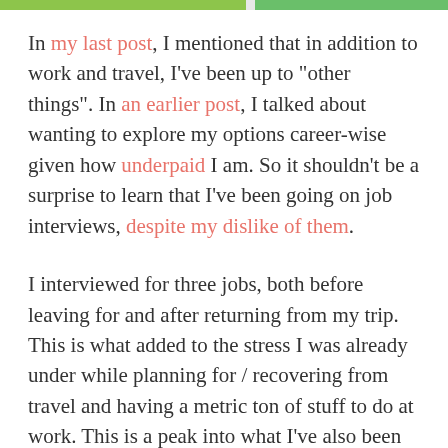[Figure (other): Decorative top bar with green gradient stripe across the page header]
In my last post, I mentioned that in addition to work and travel, I've been up to "other things". In an earlier post, I talked about wanting to explore my options career-wise given how underpaid I am. So it shouldn't be a surprise to learn that I've been going on job interviews, despite my dislike of them.
I interviewed for three jobs, both before leaving for and after returning from my trip. This is what added to the stress I was already under while planning for / recovering from travel and having a metric ton of stuff to do at work. This is a peak into what I've also been